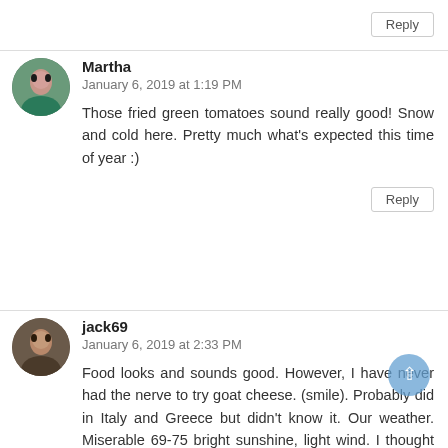Reply
Martha
January 6, 2019 at 1:19 PM
Those fried green tomatoes sound really good! Snow and cold here. Pretty much what's expected this time of year :)
Reply
jack69
January 6, 2019 at 2:33 PM
Food looks and sounds good. However, I have never had the nerve to try goat cheese. (smile). Probably did in Italy and Greece but didn't know it. Our weather. Miserable 69-75 bright sunshine, light wind. I thought miserable would be a good word since it is Florida and we are just outside Disney for another week.. LOL